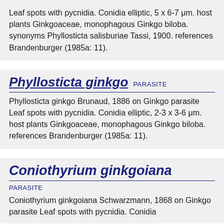Leaf spots with pycnidia. Conidia elliptic, 5 x 6-7 μm. host plants Ginkgoaceae, monophagous Ginkgo biloba. synonyms Phyllosticta salisburiae Tassi, 1900. references Brandenburger (1985a: 11).
Phyllosticta ginkgo PARASITE
Phyllosticta ginkgo Brunaud, 1886 on Ginkgo parasite Leaf spots with pycnidia. Conidia elliptic, 2-3 x 3-6 μm. host plants Ginkgoaceae, monophagous Ginkgo biloba. references Brandenburger (1985a: 11).
Coniothyrium ginkgoiana
PARASITE
Coniothyrium ginkgoiana Schwarzmann, 1868 on Ginkgo parasite Leaf spots with pycnidia. Conidia